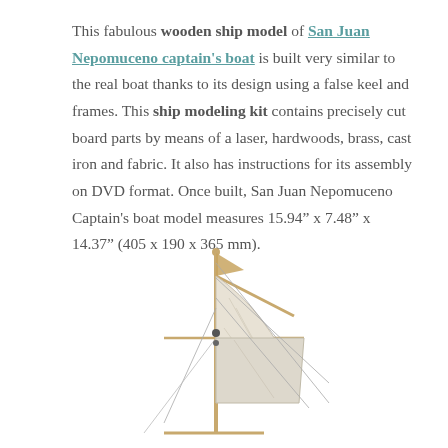This fabulous wooden ship model of San Juan Nepomuceno captain's boat is built very similar to the real boat thanks to its design using a false keel and frames. This ship modeling kit contains precisely cut board parts by means of a laser, hardwoods, brass, cast iron and fabric. It also has instructions for its assembly on DVD format. Once built, San Juan Nepomuceno Captain's boat model measures 15.94" x 7.48" x 14.37" (405 x 190 x 365 mm).
[Figure (photo): Partial view of a wooden ship model of San Juan Nepomuceno captain's boat showing the mast, rigging, and sails against a white background.]